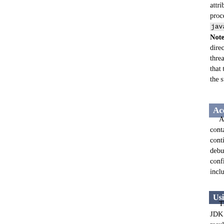attribute on a C... processing will javax.servlet... Note, that the s direct calls to s threads that mig that themselves the streams befo
Access logging
Access logging contained logic continuous strea debug messages configuration. R including the va
Using java.util.logging (def
The default implemen JDK Logging appears result, Tomcat will, in friendly implementatio mechanisms as the sta